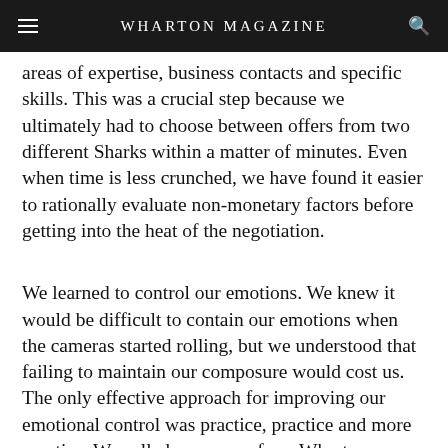WHARTON MAGAZINE
areas of expertise, business contacts and specific skills. This was a crucial step because we ultimately had to choose between offers from two different Sharks within a matter of minutes. Even when time is less crunched, we have found it easier to rationally evaluate non-monetary factors before getting into the heat of the negotiation.
We learned to control our emotions. We knew it would be difficult to contain our emotions when the cameras started rolling, but we understood that failing to maintain our composure would cost us. The only effective approach for improving our emotional control was practice, practice and more practice. We called on many of our Wharton friends